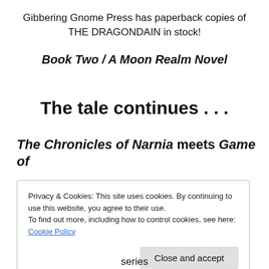Gibbering Gnome Press has paperback copies of THE DRAGONDAIN in stock!
Book Two / A Moon Realm Novel
The tale continues . . .
The Chronicles of Narnia meets Game of
Privacy & Cookies: This site uses cookies. By continuing to use this website, you agree to their use.
To find out more, including how to control cookies, see here: Cookie Policy
Close and accept
series